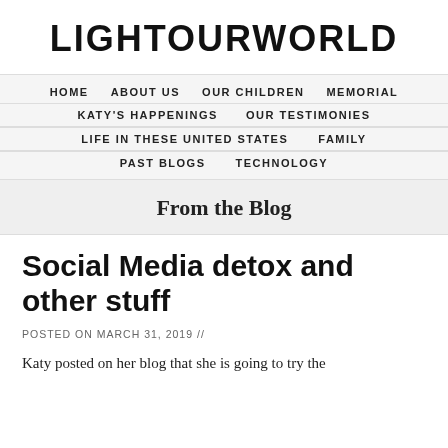LIGHTOURWORLD
HOME   ABOUT US   OUR CHILDREN   MEMORIAL   KATY'S HAPPENINGS   OUR TESTIMONIES   LIFE IN THESE UNITED STATES   FAMILY   PAST BLOGS   TECHNOLOGY
From the Blog
Social Media detox and other stuff
POSTED ON MARCH 31, 2019 //
Katy posted on her blog that she is going to try the